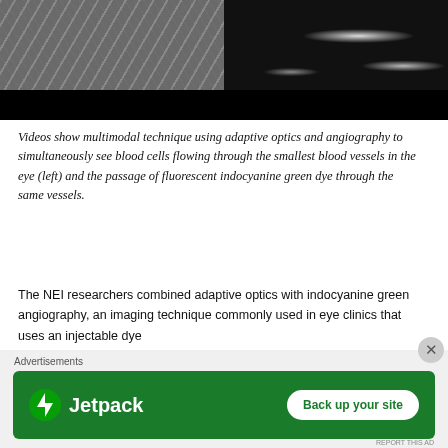[Figure (photo): Two side-by-side medical eye imaging frames: left shows grayscale adaptive optics image of blood vessels with textured background, right shows dark background with bright white vessel outlines from indocyanine green angiography fluorescence. A black bar runs across the bottom portion of the images.]
Videos show multimodal technique using adaptive optics and angiography to simultaneously see blood cells flowing through the smallest blood vessels in the eye (left) and the passage of fluorescent indocyanine green dye through the same vessels.
The NEI researchers combined adaptive optics with indocyanine green angiography, an imaging technique commonly used in eye clinics that uses an injectable dye
[Figure (screenshot): Jetpack advertisement banner: green background with Jetpack logo on left and 'Back up your site' button on right. Below it shows 'Advertisements' label and a close (X) button.]